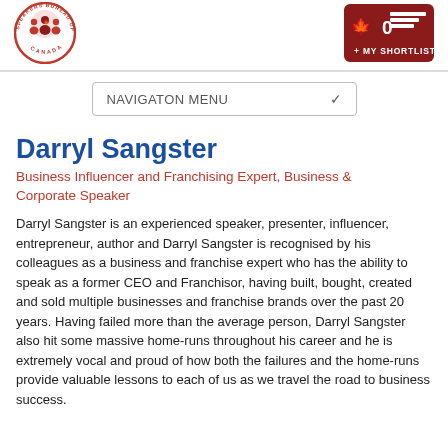[Figure (logo): Speakers Bureau of Canada circular logo with people icons and Canadian maple leaf]
[Figure (other): Dark red shortlist cart button showing 0 items with maple leaf icon and '+ MY SHORTLIST' label]
NAVIGATON MENU
Darryl Sangster
Business Influencer and Franchising Expert, Business & Corporate Speaker
Darryl Sangster is an experienced speaker, presenter, influencer, entrepreneur, author and Darryl Sangster is recognised by his colleagues as a business and franchise expert who has the ability to speak as a former CEO and Franchisor, having built, bought, created and sold multiple businesses and franchise brands over the past 20 years. Having failed more than the average person, Darryl Sangster also hit some massive home-runs throughout his career and he is extremely vocal and proud of how both the failures and the home-runs provide valuable lessons to each of us as we travel the road to business success.